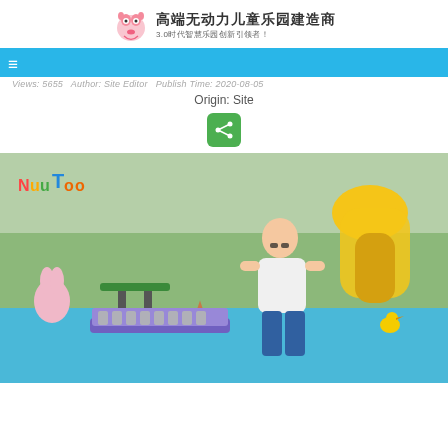高端无动力儿童乐园建造商 3.0时代智慧乐园创新引领者！
Views: 5655   Author: Site Editor   Publish Time: 2020-08-05
Origin: Site
[Figure (other): Green share/social button icon]
[Figure (photo): Outdoor playground scene with a person playing a xylophone instrument mounted on a stand, colorful play equipment including yellow slide, rubber playground flooring with star patterns, NuuToo logo visible in upper left.]